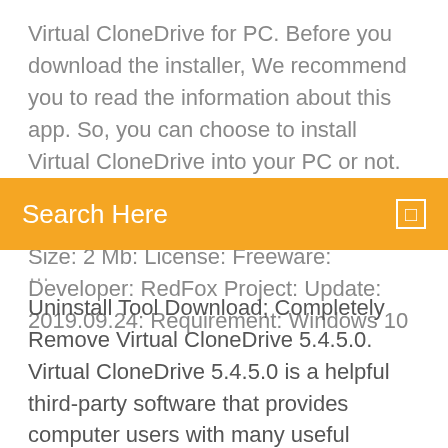Virtual CloneDrive for PC. Before you download the installer, We recommend you to read the information about this app. So, you can choose to install Virtual CloneDrive into your PC or not. Advertisement. App Name: Virtual CloneDrive App: Version: Latest: File Size: 2 Mb: License: Freeware: Developer: RedFox Project: Update: 2019.09.24: Requirement: Windows 10
[Figure (other): Orange search bar with 'Search Here' placeholder text and a small square icon on the right]
Uninstall Tool Download; Completely Remove Virtual CloneDrive 5.4.5.0. Virtual CloneDrive 5.4.5.0 is a helpful third-party software that provides computer users with many useful features and tools. However, many users got difficulty and problem in uninstalling it from the computer. Below, we have listed possible problems when uninstalling Virtual CloneDrive App for PC Windows 10 Latest … While Virtual CloneDrive 32 bit can running without problems on both Windows 32 bit or Windows 64 bit PC. But 64 bit version will work only on Windows